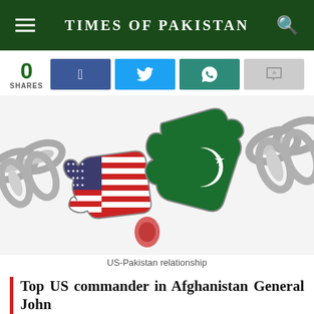TIMES OF PAKISTAN
0
SHARES
[Figure (illustration): Two interlocking puzzle pieces styled with US flag and Pakistani flag patterns, connected by a heavy metal chain on both sides, symbolizing the US-Pakistan relationship.]
US-Pakistan relationship
Top US commander in Afghanistan General John